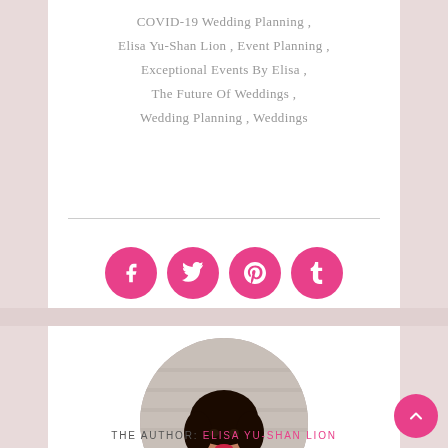COVID-19 Wedding Planning , Elisa Yu-Shan Lion , Event Planning , Exceptional Events By Elisa , The Future Of Weddings , Wedding Planning , Weddings
[Figure (other): Social sharing icons row: Facebook, Twitter, Pinterest, Tumblr — pink circular buttons with white icons]
[Figure (photo): Circular portrait photo of Elisa Yu-Shan Lion, a woman with dark hair and red lips wearing a black top, arms crossed, against a light background]
THE AUTHOR: ELISA YU-SHAN LION